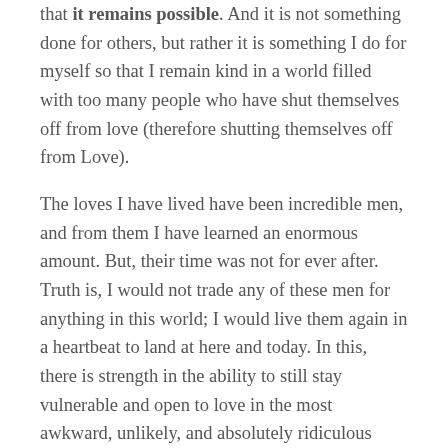that it remains possible. And it is not something done for others, but rather it is something I do for myself so that I remain kind in a world filled with too many people who have shut themselves off from love (therefore shutting themselves off from Love).
The loves I have lived have been incredible men, and from them I have learned an enormous amount. But, their time was not for ever after. Truth is, I would not trade any of these men for anything in this world; I would live them again in a heartbeat to land at here and today. In this, there is strength in the ability to still stay vulnerable and open to love in the most awkward, unlikely, and absolutely ridiculous moments of impossibility. Playing in traffic has given me bruises I stare at in wonder and fascination still, representing engaged and active markers of my growing pains as a woman, a sign that I am not sitting on my ass safely on the sidewalk never living for fear of hurting. I feel a tremendous amount of sadness for people who do.